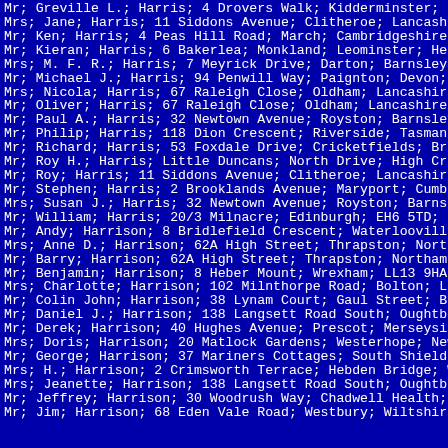Mr; Greville L.; Harris; 4 Drovers Walk; Kidderminster;
Mrs; Jane; Harris; 11 Siddons Avenue; Clitheroe; Lancash
Mr; Ken; Harris; 4 Peas Hill Road; March; Cambridgeshire,
Mr; Kieran; Harris; 6 Bakerlea; Monkland; Leominster; He
Mrs; M. F. R.; Harris; 7 Meyrick Drive; Darton; Barnsley,
Mr; Michael J.; Harris; 94 Penwill Way; Paignton; Devon;
Mrs; Nicola; Harris; 67 Raleigh Close; Oldham; Lancashire
Mr; Oliver; Harris; 67 Raleigh Close; Oldham; Lancashire,
Mr; Paul A.; Harris; 32 Newtown Avenue; Royston; Barnsley
Mr; Philip; Harris; 118 Dion Crescent; Riverside; Tasman
Mr; Richard; Harris; 53 Foxdale Drive; Cricketfields; Br
Mr; Roy H.; Harris; Little Duncans; North Drive; High Cro
Mr; Roy; Harris; 11 Siddons Avenue; Clitheroe; Lancashire
Mr; Stephen; Harris; 2 Brooklands Avenue; Maryport; Cumb
Mrs; Susan J.; Harris; 32 Newtown Avenue; Royston; Barnsl
Mr; William; Harris; 20/3 Milnacre; Edinburgh; EH6 5TD; G
Mr; Andy; Harrison; 8 Bridlefield Crescent; Waterlooville
Mrs; Anne D.; Harrison; 62A High Street; Thrapston; North
Mr; Barry; Harrison; 62A High Street; Thrapston; Northamp
Mr; Benjamin; Harrison; 8 Heber Mount; Wrexham; LL13 9HA,
Mrs; Charlotte; Harrison; 102 Milnthorpe Road; Bolton; La
Mr; Colin John; Harrison; 38 Lynam Court; Gaul Street; Bu
Mr; Daniel J.; Harrison; 138 Langsett Road South; Oughtbr
Mr; Derek; Harrison; 40 Hughes Avenue; Prescot; Merseyside
Mrs; Doris; Harrison; 20 Matlock Gardens; Westerhope; New
Mr; George; Harrison; 37 Mariners Cottages; South Shields
Mrs; H.; Harrison; 2 Crimsworth Terrace; Hebden Bridge; W
Mrs; Jeanette; Harrison; 138 Langsett Road South; Oughtbr
Mr; Jeffrey; Harrison; 30 Woodrush Way; Chadwell Health;
Mr; Jim; Harrison; 68 Eden Vale Road; Westbury; Wiltshire